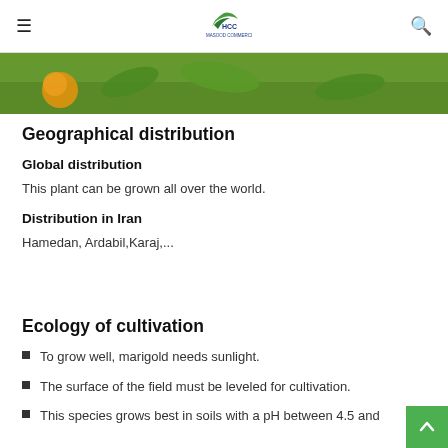≡   MCC Masood Commercial Co.   🔍
[Figure (photo): Green plant/marigold field photo strip at top of content]
Geographical distribution
Global distribution
This plant can be grown all over the world.
Distribution in Iran
Hamedan, Ardabil,Karaj,...
Ecology of cultivation
To grow well, marigold needs sunlight.
The surface of the field must be leveled for cultivation.
This species grows best in soils with a pH between 4.5 and